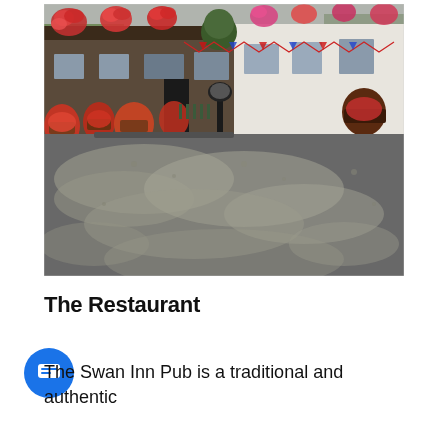[Figure (photo): Exterior photograph of the Swan Inn Pub, a traditional British pub with white walls and extensive floral decorations including hanging baskets and flower pots. The foreground shows a large car park / car park area with grey/light patches on dark tarmac.]
The Restaurant
The Swan Inn Pub is a traditional and authentic